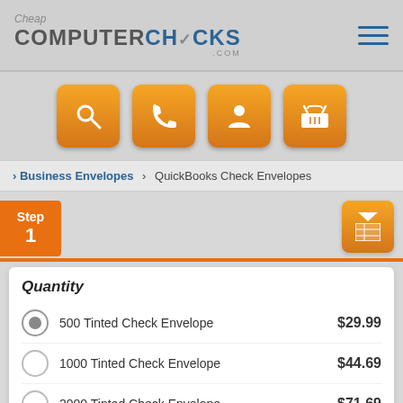[Figure (logo): CheapComputerChecks.com logo with hamburger menu icon]
[Figure (infographic): Four orange icon buttons: search, phone, account, shopping basket]
> Business Envelopes > QuickBooks Check Envelopes
[Figure (infographic): Step 1 orange badge and orange grid/list view toggle button]
Quantity
500 Tinted Check Envelope   $29.99
1000 Tinted Check Envelope   $44.69
2000 Tinted Check Envelope   $71.69
3500 Tinted Check Envelope   $87.69